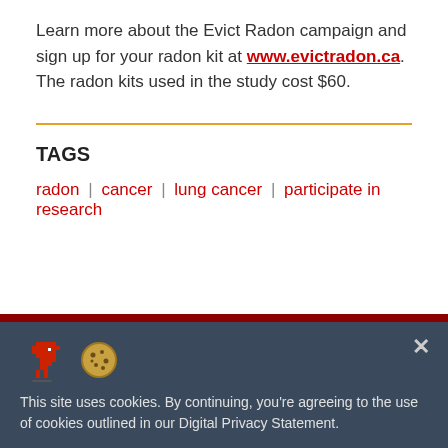Learn more about the Evict Radon campaign and sign up for your radon kit at www.evictradon.ca. The radon kits used in the study cost $60.
TAGS
radon | cancer | lung cancer | participate in research
[Figure (screenshot): Cookie consent banner with dinosaur and cookie icons on a dark blue-grey background, with close button. Text: 'This site uses cookies. By continuing, you're agreeing to the use of cookies outlined in our Digital Privacy Statement.']